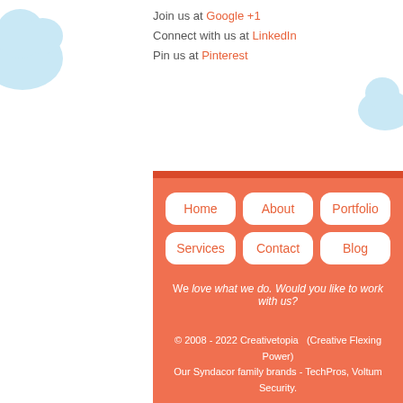Join us at Google +1
Connect with us at LinkedIn
Pin us at Pinterest
[Figure (other): Light blue decorative cloud shapes on white background, left and right sides]
Home  About  Portfolio  Services  Contact  Blog
We love what we do. Would you like to work with us?
© 2008 - 2022 Creativetopia  (Creative Flexing Power)
Our Syndacor family brands - TechPros, Voltum Security.